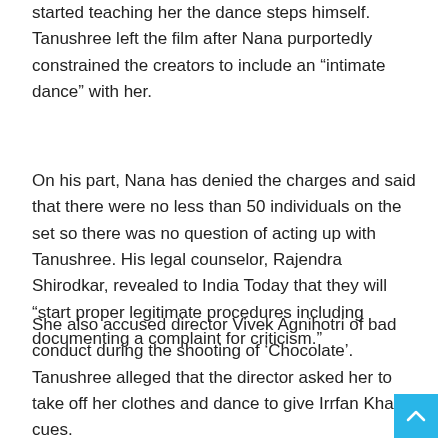started teaching her the dance steps himself. Tanushree left the film after Nana purportedly constrained the creators to include an “intimate dance” with her.
On his part, Nana has denied the charges and said that there were no less than 50 individuals on the set so there was no question of acting up with Tanushree. His legal counselor, Rajendra Shirodkar, revealed to India Today that they will “start proper legitimate procedures including documenting a complaint for criticism.”
She also accused director Vivek Agnihotri of bad conduct during the shooting of ‘Chocolate’. Tanushree alleged that the director asked her to take off her clothes and dance to give Irrfan Khan cues.